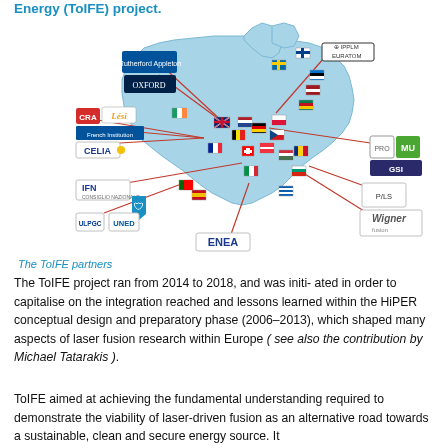Energy (ToIFE) project.
[Figure (map): Map of Europe showing the ToIFE project partners, with logos of institutions connected by red lines to their respective countries on a blue-shaded map of Europe. Logos include IPPLM, University of Oxford, Rutherford Appleton Laboratory, CRA, LESI, CELIA, IFN, ULPGC, UNED, MU, GSI, PILS, Wigner Fusion, ENEA and others.]
The ToIFE partners
The ToIFE project ran from 2014 to 2018, and was initi- ated in order to capitalise on the integration reached and lessons learned within the HiPER conceptual design and preparatory phase (2006–2013), which shaped many aspects of laser fusion research within Europe ( see also the contribution by Michael Tatarakis ).
ToIFE aimed at achieving the fundamental understanding required to demonstrate the viability of laser-driven fusion as an alternative road towards a sustainable, clean and secure energy source. It